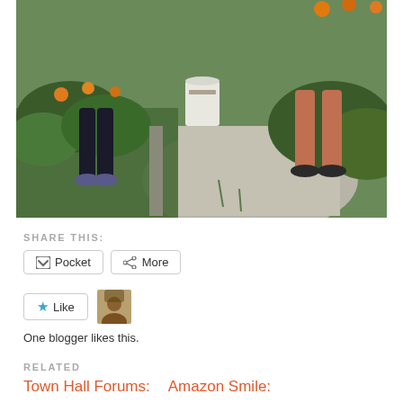[Figure (photo): Outdoor community garden scene showing two people's legs standing in a gravel path between raised garden beds with green plants and orange flowers]
SHARE THIS:
Pocket   More
Like
One blogger likes this.
RELATED
Town Hall Forums:   Amazon Smile: